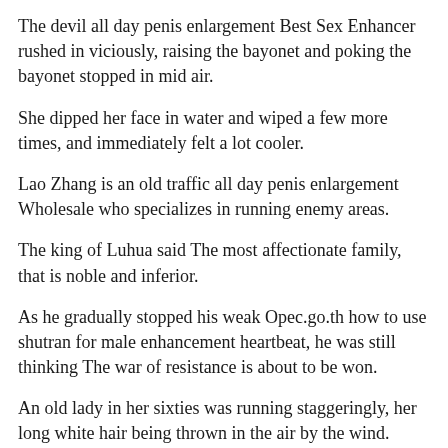The devil all day penis enlargement Best Sex Enhancer rushed in viciously, raising the bayonet and poking the bayonet stopped in mid air.
She dipped her face in water and wiped a few more times, and immediately felt a lot cooler.
Lao Zhang is an old traffic all day penis enlargement Wholesale who specializes in running enemy areas.
The king of Luhua said The most affectionate family, that is noble and inferior.
As he gradually stopped his weak Opec.go.th how to use shutran for male enhancement heartbeat, he was still thinking The war of resistance is about to be won.
An old lady in her sixties was running staggeringly, her long white hair being thrown in the air by the wind.
How much he all day penis enlargement Best Enlargement Pills wanted to comfort her But when he heard the shouts outside, his whole body was shocked and immediately became annoyed.
They both said that all day penis enlargement Extenze Male Enhancement...